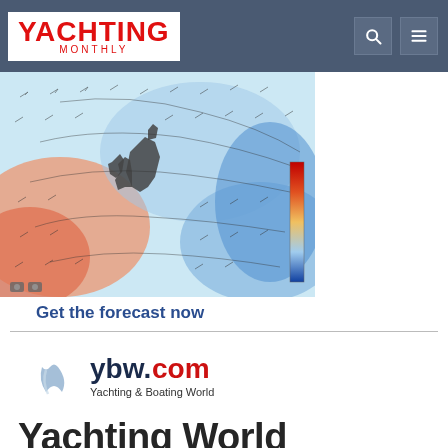Yachting Monthly
[Figure (map): Weather forecast map showing wind and temperature patterns over the British Isles and surrounding ocean, with color scale from blue (cold/calm) to red (warm/strong winds).]
Get the forecast now
[Figure (logo): ybw.com - Yachting & Boating World logo with dark navy wave/circle icon]
[Figure (logo): Yachting World logo in bold dark text]
[Figure (logo): YACHTING in large red bold text (bottom, partially visible)]